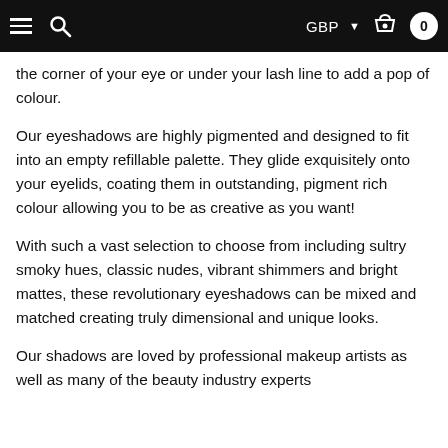GBP  0
the corner of your eye or under your lash line to add a pop of colour.
Our eyeshadows are highly pigmented and designed to fit into an empty refillable palette. They glide exquisitely onto your eyelids, coating them in outstanding, pigment rich colour allowing you to be as creative as you want!
With such a vast selection to choose from including sultry smoky hues, classic nudes, vibrant shimmers and bright mattes, these revolutionary eyeshadows can be mixed and matched creating truly dimensional and unique looks.
Our shadows are loved by professional makeup artists as well as many of the beauty industry experts